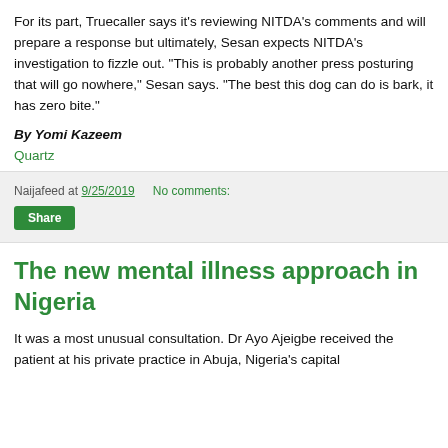For its part, Truecaller says it's reviewing NITDA's comments and will prepare a response but ultimately, Sesan expects NITDA's investigation to fizzle out. "This is probably another press posturing that will go nowhere," Sesan says. "The best this dog can do is bark, it has zero bite."
By Yomi Kazeem
Quartz
Naijafeed at 9/25/2019   No comments:
Share
The new mental illness approach in Nigeria
It was a most unusual consultation. Dr Ayo Ajeigbe received the patient at his private practice in Abuja, Nigeria's capital